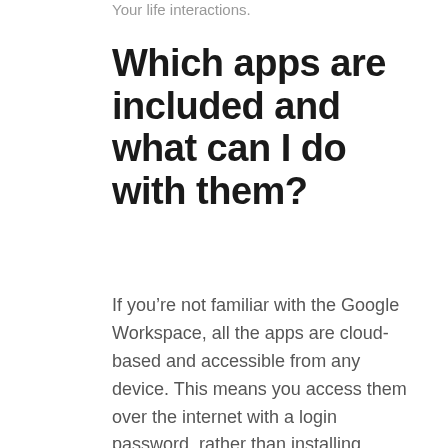Your life interactions.
Which apps are included and what can I do with them?
If you’re not familiar with the Google Workspace, all the apps are cloud-based and accessible from any device. This means you access them over the internet with a login password, rather than installing software onto your computer. You can share documents with other